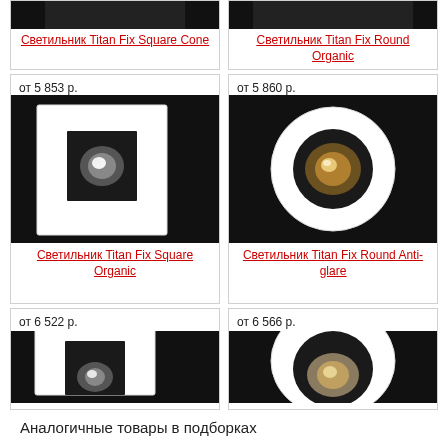[Figure (photo): Top row: partial product cards showing bottom of images for Titan Fix Square Cone and Titan Fix Round Organic luminaires]
Светильник Titan Fix Square Cone
Светильник Titan Fix Round Organic
[Figure (photo): Product card: Светильник Titan Fix Square Organic, price от 5 853 р., white square recessed luminaire on black background]
от 5 853 р.
Светильник Titan Fix Square Organic
[Figure (photo): Product card: Светильник Titan Fix Round Anti-glare, price от 5 860 р., white round recessed luminaire on black background]
от 5 860 р.
Светильник Titan Fix Round Anti-glare
[Figure (photo): Partial product card: Светильник, price от 6 522 р., partial square recessed luminaire on black background]
от 6 522 р.
[Figure (photo): Partial product card: Светильник, price от 6 566 р., partial round recessed luminaire on black background]
от 6 566 р.
Аналогичные товары в подборках